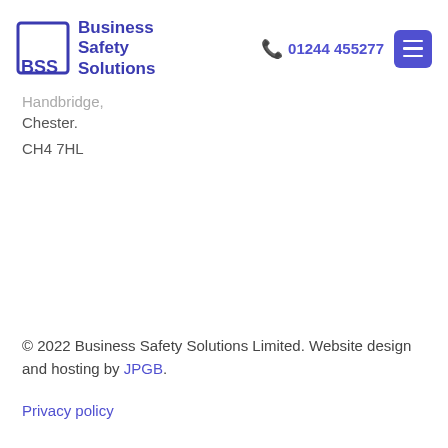[Figure (logo): BSS Business Safety Solutions logo with square bracket icon and company name]
📞 01244 455277
Handbridge,
Chester.
CH4 7HL
© 2022 Business Safety Solutions Limited. Website design and hosting by JPGB.
Privacy policy